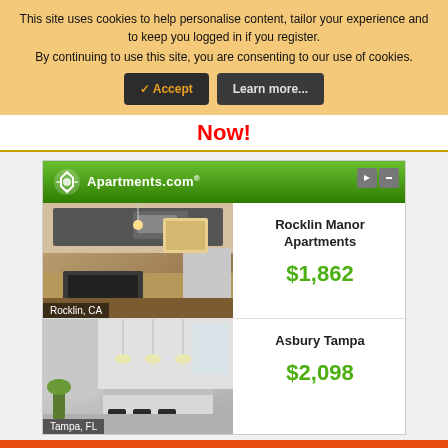This site uses cookies to help personalise content, tailor your experience and to keep you logged in if you register. By continuing to use this site, you are consenting to our use of cookies.
✓ Accept  Learn more...
Now!
[Figure (screenshot): Apartments.com advertisement showing two apartment listings: Rocklin Manor Apartments in Rocklin, CA at $1,862 and Asbury Tampa in Tampa, FL at $2,098, with kitchen interior photos for each listing.]
[Figure (infographic): DirectRelief orange banner: Help send medical aid to Ukraine >> with DirectRelief logo]